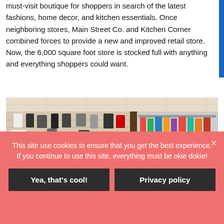(main street co. & kitchen corner) a must-visit boutique for shoppers in search of the latest fashions, home decor, and kitchen essentials. Once neighboring stores, Main Street Co. and Kitchen Corner combined forces to provide a new and improved retail store. Now, the 6,000 square foot store is stocked full with anything and everything shoppers could want.
[Figure (photo): Interior of a retail store showing product-filled wall displays and shelving units with various packaged goods, kitchenware, and small items.]
This site use cookies to ensure that you get the best experience. If you continue to use this site, everything must be okie dokie!
Yea, that's cool!
Privacy policy